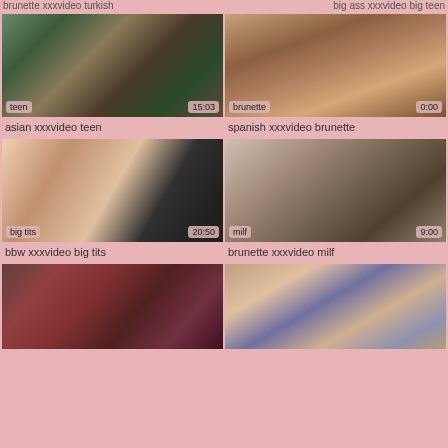brunette xxxvideo turkish | big ass xxxvideo big teen
[Figure (photo): Video thumbnail - asian teen content, tag: teen, duration: 15:03]
asian xxxvideo teen
[Figure (photo): Video thumbnail - spanish brunette content, tag: brunette, duration: 0:00]
spanish xxxvideo brunette
[Figure (photo): Video thumbnail - bbw big tits content, tag: big tits, duration: 20:50]
bbw xxxvideo big tits
[Figure (photo): Video thumbnail - brunette milf content, tag: milf, duration: 9:00]
brunette xxxvideo milf
[Figure (photo): Video thumbnail - partial view bottom left]
[Figure (photo): Video thumbnail - partial view bottom right]